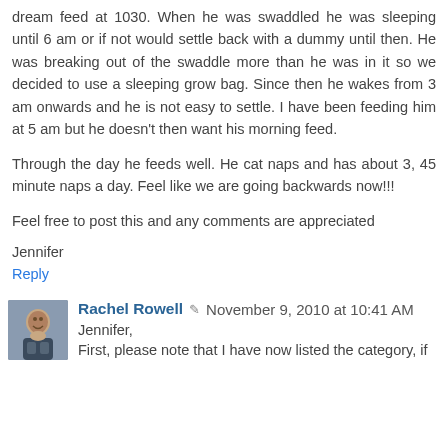dream feed at 1030. When he was swaddled he was sleeping until 6 am or if not would settle back with a dummy until then. He was breaking out of the swaddle more than he was in it so we decided to use a sleeping grow bag. Since then he wakes from 3 am onwards and he is not easy to settle. I have been feeding him at 5 am but he doesn't then want his morning feed.
Through the day he feeds well. He cat naps and has about 3, 45 minute naps a day. Feel like we are going backwards now!!!
Feel free to post this and any comments are appreciated
Jennifer
Reply
Rachel Rowell · November 9, 2010 at 10:41 AM
Jennifer,
First, please note that I have now listed the category, if...